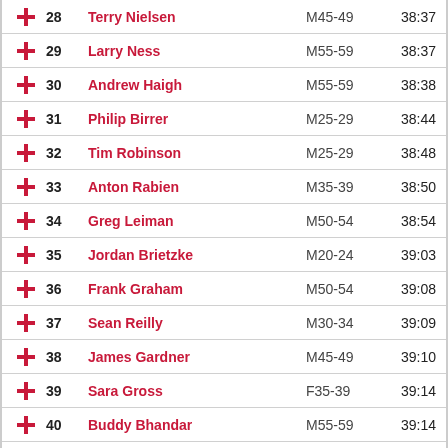|  | Rank | Name | Age Group | Time |
| --- | --- | --- | --- | --- |
| + | 28 | Terry Nielsen | M45-49 | 38:37 |
| + | 29 | Larry Ness | M55-59 | 38:37 |
| + | 30 | Andrew Haigh | M55-59 | 38:38 |
| + | 31 | Philip Birrer | M25-29 | 38:44 |
| + | 32 | Tim Robinson | M25-29 | 38:48 |
| + | 33 | Anton Rabien | M35-39 | 38:50 |
| + | 34 | Greg Leiman | M50-54 | 38:54 |
| + | 35 | Jordan Brietzke | M20-24 | 39:03 |
| + | 36 | Frank Graham | M50-54 | 39:08 |
| + | 37 | Sean Reilly | M30-34 | 39:09 |
| + | 38 | James Gardner | M45-49 | 39:10 |
| + | 39 | Sara Gross | F35-39 | 39:14 |
| + | 40 | Buddy Bhandar | M55-59 | 39:14 |